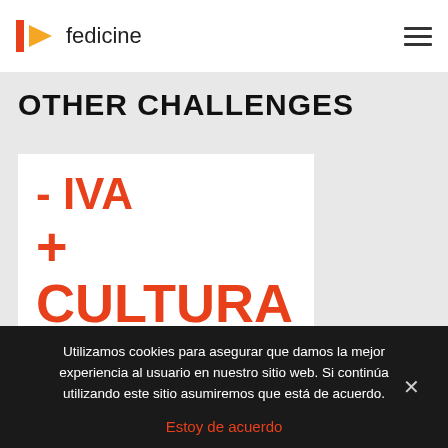fedicine
OTHER CHALLENGES
[Figure (other): White card with bold red text reading '- IVA' on first line and '+ CULTURA' on second line, followed by a horizontal rule]
Utilizamos cookies para asegurar que damos la mejor experiencia al usuario en nuestro sitio web. Si continúa utilizando este sitio asumiremos que está de acuerdo.
Estoy de acuerdo